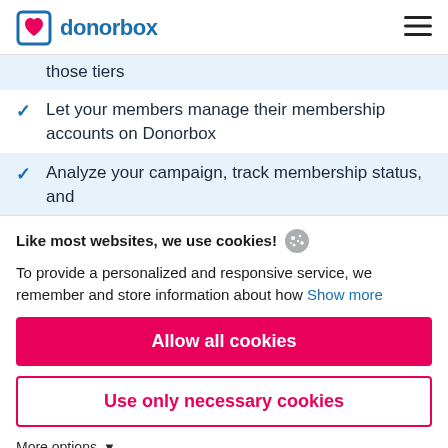donorbox
those tiers
Let your members manage their membership accounts on Donorbox
Analyze your campaign, track membership status, and
Like most websites, we use cookies! To provide a personalized and responsive service, we remember and store information about how Show more
Allow all cookies
Use only necessary cookies
More options